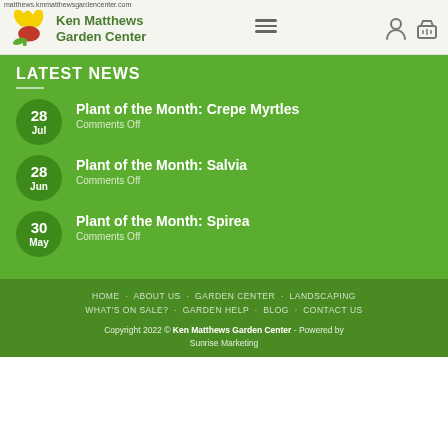matthews.kmmatthewsgardencenter.com
Ken Matthews Garden Center
LATEST NEWS
28 Jul — Plant of the Month: Crepe Myrtles — Comments Off
28 Jun — Plant of the Month: Salvia — Comments Off
30 May — Plant of the Month: Spirea — Comments Off
HOME  ABOUT US  GARDEN CENTER  LANDSCAPING  WHAT'S ON SALE?  GARDEN HELP  BLOG  CONTACT US
Copyright 2022 © Ken Matthews Garden Center - Powered by Sunrise Marketing